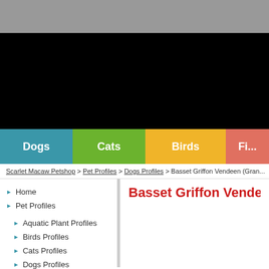[Figure (screenshot): Gray top bar of website]
[Figure (screenshot): Black banner area of website]
Dogs | Cats | Birds | Fi...
Scarlet Macaw Petshop > Pet Profiles > Dogs Profiles > Basset Griffon Vendeen (Gran...
Home
Pet Profiles
Aquatic Plant Profiles
Birds Profiles
Cats Profiles
Dogs Profiles
Fish Profiles
Basset Griffon Vendeen (G...